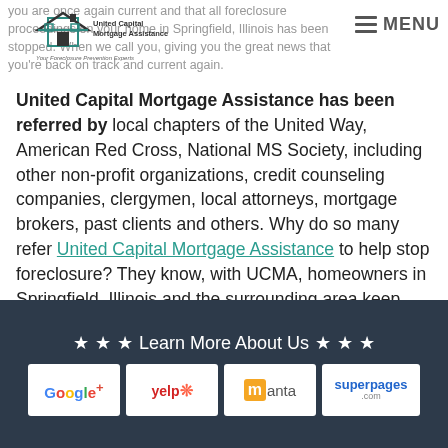you are once again current and that all foreclosure proceedings on your home in Springfield, Illinois has been stopped. When we call you, giving you the great news that you're back on track and current again.
[Figure (logo): United Capital Mortgage Assistance logo with house icon and tagline 'Your Foreclosure Prevention Experts']
[Figure (other): Hamburger menu icon with MENU text]
United Capital Mortgage Assistance has been referred by local chapters of the United Way, American Red Cross, National MS Society, including other non-profit organizations, credit counseling companies, clergymen, local attorneys, mortgage brokers, past clients and others. Why do so many refer United Capital Mortgage Assistance to help stop foreclosure? They know, with UCMA, homeowners in Springfield, Illinois and the surrounding area keep their homes.
[Figure (other): Dark navy footer banner with stars and 'Learn More About Us' text, containing logos for Google+, Yelp, Manta, and Superpages.com]